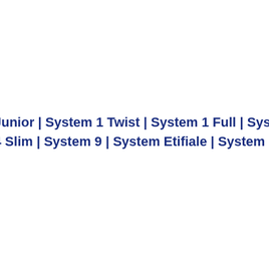Junior | System 1 Twist | System 1 Full | System 2 Twist | S 4 Slim | System 9 | System Etifiale | System Pharmas